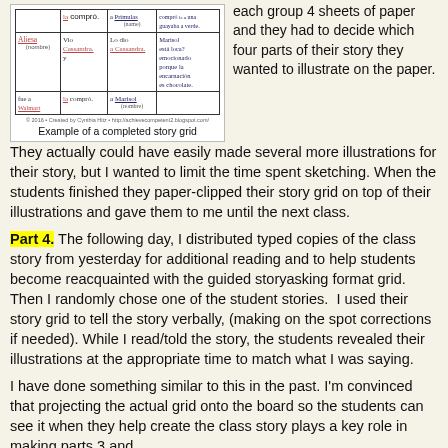[Figure (photo): Example of a completed story grid table with handwritten entries in Spanish, showing columns for subject, verb, and other story elements]
Example of a completed story grid
each group 4 sheets of paper and they had to decide which four parts of their story they wanted to illustrate on the paper.  They actually could have easily made several more illustrations for their story, but I wanted to limit the time spent sketching. When the students finished they paper-clipped their story grid on top of their illustrations and gave them to me until the next class.
Part 4. The following day, I distributed typed copies of the class story from yesterday for additional reading and to help students become reacquainted with the guided storyasking format grid. Then I randomly chose one of the student stories.  I used their story grid to tell the story verbally, (making on the spot corrections if needed). While I read/told the story, the students revealed their illustrations at the appropriate time to match what I was saying.
I have done something similar to this in the past. I'm convinced that projecting the actual grid onto the board so the students can see it when they help create the class story plays a key role in making parts 3 and